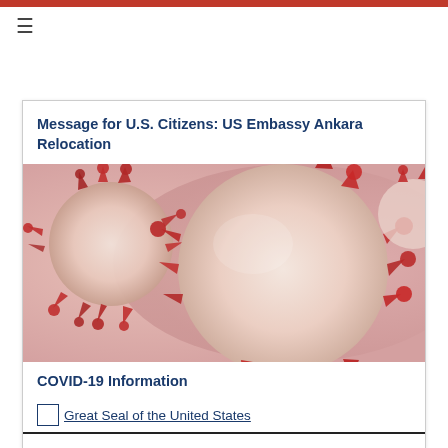Message for U.S. Citizens: US Embassy Ankara Relocation
[Figure (photo): Close-up illustration of coronavirus particles with red spike proteins on a pink/beige background]
COVID-19 Information
[Figure (logo): Great Seal of the United States (broken image placeholder shown with alt text)]
Great Seal of the United States